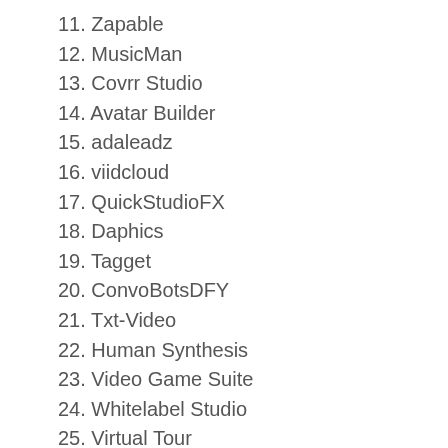11. Zapable
12. MusicMan
13. Covrr Studio
14. Avatar Builder
15. adaleadz
16. viidcloud
17. QuickStudioFX
18. Daphics
19. Tagget
20. ConvoBotsDFY
21. Txt-Video
22. Human Synthesis
23. Video Game Suite
24. Whitelabel Studio
25. Virtual Tour
26. Doodle Maker
27. Zerotouch
28. HowdyAds
29. Videoremix